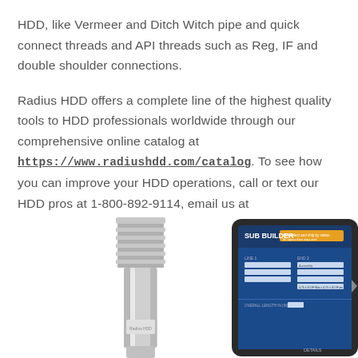HDD, like Vermeer and Ditch Witch pipe and quick connect threads and API threads such as Reg, IF and double shoulder connections.
Radius HDD offers a complete line of the highest quality tools to HDD professionals worldwide through our comprehensive online catalog at https://www.radiushdd.com/catalog. To see how you can improve your HDD operations, call or text our HDD pros at 1-800-892-9114, email us at info@radiushdd.com or shop at radiushdd.com.
[Figure (photo): A metal threaded pipe/sub component on the left and a tablet showing the 'Sub Builder' online tool interface on the right, both on a white background.]